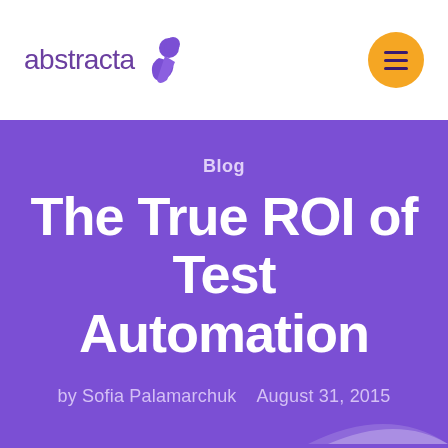[Figure (logo): Abstracta logo with purple text and stylized purple arrow/shape icon, and an orange circular hamburger menu button on the right]
Blog
The True ROI of Test Automation
by Sofia Palamarchuk   August 31, 2015